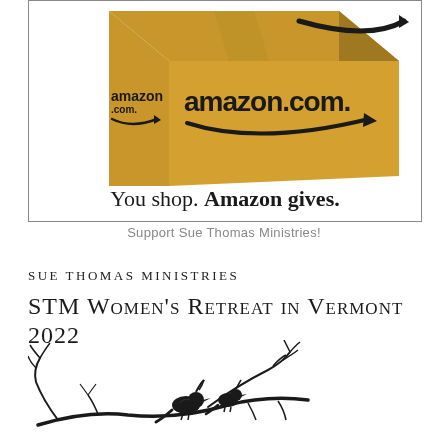[Figure (photo): Amazon.com shipping box with smile logo and text 'You shop. Amazon gives.' below it, inside a rectangular border]
Support Sue Thomas Ministries!
Sue Thomas Ministries
STM Women's Retreat in Vermont 2022
[Figure (illustration): Black silhouette illustration of two birds perched on a decorative tree branch with leaves]